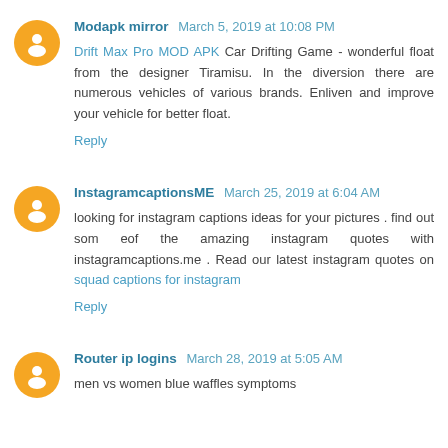Modapk mirror  March 5, 2019 at 10:08 PM
Drift Max Pro MOD APK Car Drifting Game - wonderful float from the designer Tiramisu. In the diversion there are numerous vehicles of various brands. Enliven and improve your vehicle for better float.
Reply
InstagramcaptionsME  March 25, 2019 at 6:04 AM
looking for instagram captions ideas for your pictures . find out som eof the amazing instagram quotes with instagramcaptions.me . Read our latest instagram quotes on squad captions for instagram
Reply
Router ip logins  March 28, 2019 at 5:05 AM
men vs women blue waffles symptoms